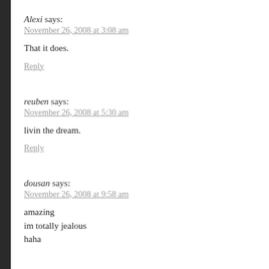Alexi says:
November 26, 2008 at 3:08 am
That it does.
Reply
reuben says:
November 26, 2008 at 5:30 am
livin the dream.
Reply
dousan says:
November 26, 2008 at 9:58 am
amazing
im totally jealous
haha